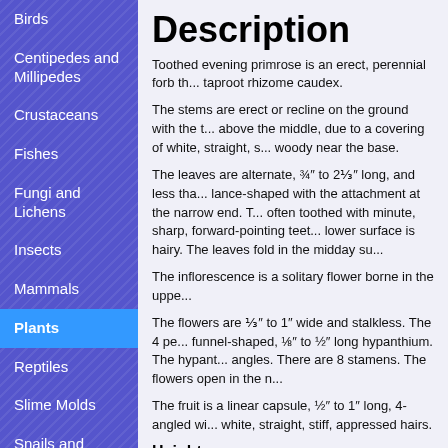Birds
Centipedes and Millipedes
Crustaceans
Fishes
Fungi and Lichens
Insects
Mammals
Plants
Reptiles
Slime Molds
Snails and Slugs
Description
Toothed evening primrose is an erect, perennial forb th... taproot rhizome caudex.
The stems are erect or recline on the ground with the t... above the middle, due to a covering of white, straight, s... woody near the base.
The leaves are alternate, ¾" to 2⅓" long, and less tha... lance-shaped with the attachment at the narrow end. T... often toothed with minute, sharp, forward-pointing teet... lower surface is hairy. The leaves fold in the midday su...
The inflorescence is a solitary flower borne in the uppe...
The flowers are ⅓" to 1" wide and stalkless. The 4 pe... funnel-shaped, ⅛" to ½" long hypanthium. The hypant... angles. There are 8 stamens. The flowers open in the n...
The fruit is a linear capsule, ½" to 1" long, 4-angled wi... white, straight, stiff, appressed hairs.
Height
Up to 24"
Flower Color
Bright yellow